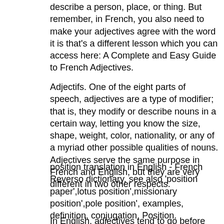describe a person, place, or thing. But remember, in French, you also need to make your adjectives agree with the word it is that's a different lesson which you can access here: A Complete and Easy Guide to French Adjectives.
Adjectifs. One of the eight parts of speech, adjectives are a type of modifier; that is, they modify or describe nouns in a certain way, letting you know the size, shape, weight, color, nationality, or any of a myriad other possible qualities of nouns. Adjectives serve the same purpose in French and English, but they are very different in two other respects.
position translation in English - French Reverso dictionary, see also 'position paper',lotus position',missionary position',pole position', examples, definition, conjugation. Position.
In English, adjectives tend to go before the noun they describe (my new house, my old grandmother etc). In French, they almost all go after the noun (les plats italiens, les chaussures noires, la langue française). There is a small group of adjectives,